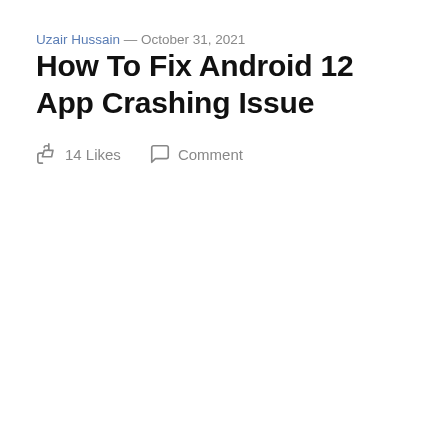Uzair Hussain — October 31, 2021
How To Fix Android 12 App Crashing Issue
14 Likes   Comment